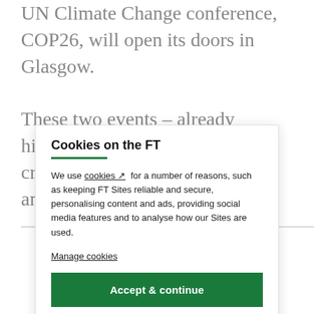UN Climate Change conference, COP26, will open its doors in Glasgow.
These two events – already highlights in the global climate crisis calendar – share the stark and unequivocal
Cookies on the FT
We use cookies ↗ for a number of reasons, such as keeping FT Sites reliable and secure, personalising content and ads, providing social media features and to analyse how our Sites are used.
Manage cookies
Accept & continue